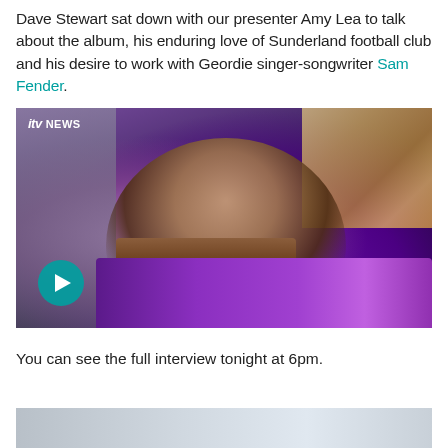Dave Stewart sat down with our presenter Amy Lea to talk about the album, his enduring love of Sunderland football club and his desire to work with Geordie singer-songwriter Sam Fender.
[Figure (photo): ITV News video thumbnail showing a young man with light brown hair playing a keyboard/organ instrument in a studio setting with purple and pink lighting. A play button is visible in the lower left corner.]
You can see the full interview tonight at 6pm.
[Figure (photo): Partial view of another image at the bottom of the page, showing a light-colored interior scene.]